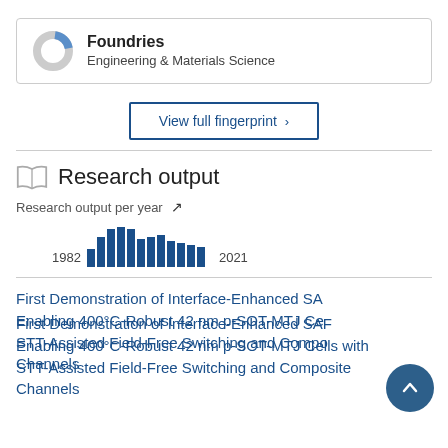[Figure (donut-chart): Donut chart for Foundries concept, mostly grey with blue segment, under Engineering & Materials Science]
Foundries
Engineering & Materials Science
View full fingerprint ›
Research output
[Figure (bar-chart): Research output per year]
First Demonstration of Interface-Enhanced SAF Enabling 400°C-Robust 42 nm p-SOT-MTJ Cells with STT-Assisted Field-Free Switching and Composite Channels